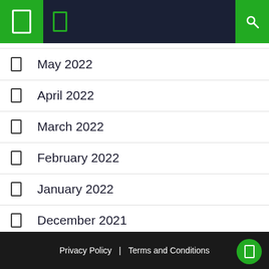Navigation header with icons
May 2022
April 2022
March 2022
February 2022
January 2022
December 2021
March 2021
Privacy Policy | Terms and Conditions